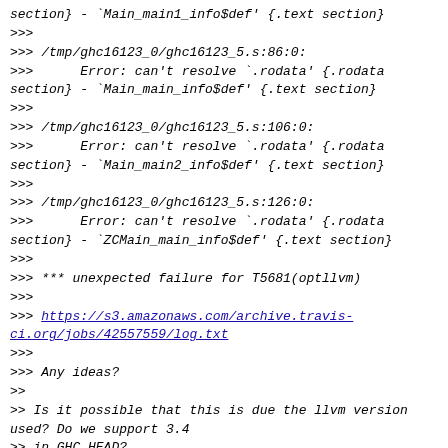section} - `Main_main1_info$def' {.text section}
>>>
>>> /tmp/ghc16123_0/ghc16123_5.s:86:0:
>>>      Error: can't resolve `.rodata' {.rodata section} - `Main_main_info$def' {.text section}
>>>
>>> /tmp/ghc16123_0/ghc16123_5.s:106:0:
>>>      Error: can't resolve `.rodata' {.rodata section} - `Main_main2_info$def' {.text section}
>>>
>>> /tmp/ghc16123_0/ghc16123_5.s:126:0:
>>>      Error: can't resolve `.rodata' {.rodata section} - `ZCMain_main_info$def' {.text section}
>>>
>>> *** unexpected failure for T5681(optllvm)
>>>
>>> https://s3.amazonaws.com/archive.travis-ci.org/jobs/42557559/log.txt
>>>
>>> Any ideas?
>>
>> Is it possible that this is due the llvm version used? Do we support 3.4
>> in GHC HEAD?
>>
>>    Using LLVM tools
>>        llc   : /usr/local/clang-3.4/bin/llc
>>        opt   : /usr/local/clang-3.4/bin/opt
>>
>> (http://smart-cactus.org/~ben/posts/2014-11-28-